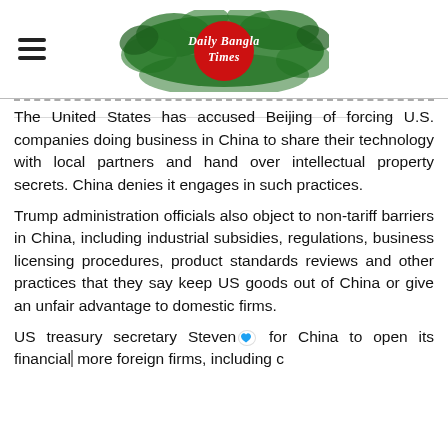Daily Bangla Times
The United States has accused Beijing of forcing U.S. companies doing business in China to share their technology with local partners and hand over intellectual property secrets. China denies it engages in such practices.
Trump administration officials also object to non-tariff barriers in China, including industrial subsidies, regulations, business licensing procedures, product standards reviews and other practices that they say keep US goods out of China or give an unfair advantage to domestic firms.
US treasury secretary Steven [Mnuchin called] for China to open its financial [sector to] more foreign firms, including c[redit card companies]...